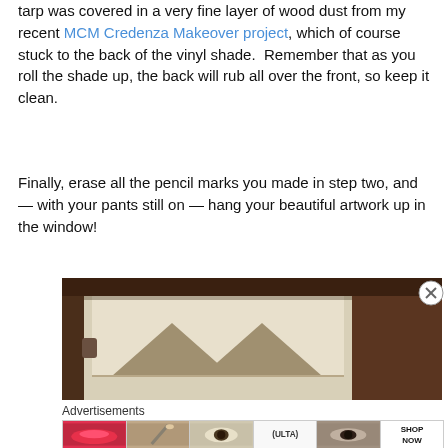tarp was covered in a very fine layer of wood dust from my recent MCM Credenza Makeover project, which of course stuck to the back of the vinyl shade. Remember that as you roll the shade up, the back will rub all over the front, so keep it clean.
Finally, erase all the pencil marks you made in step two, and — with your pants still on — hang your beautiful artwork up in the window!
[Figure (photo): Close-up photo of a window shade installed in a dark wood window frame, showing a geometric chevron/mountain pattern in tan/khaki tones on the shade fabric.]
Advertisements
[Figure (photo): Advertisement banner strip showing ULTA beauty ads with close-up photos of makeup looks (lips, eye with brush, eye with mascara, smoky eye) and ULTA logo with SHOP NOW text.]